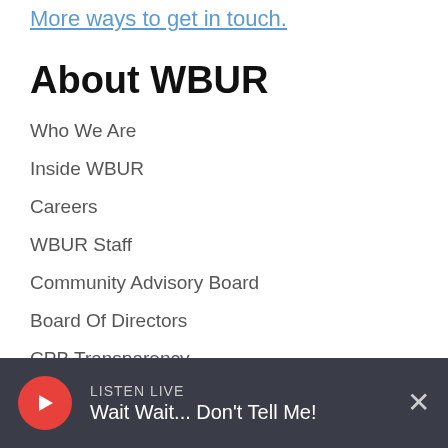More ways to get in touch.
About WBUR
Who We Are
Inside WBUR
Careers
WBUR Staff
Community Advisory Board
Board Of Directors
CPB Transparency
Diversity, Equity And Inclusion
LISTEN LIVE
Wait Wait... Don't Tell Me!